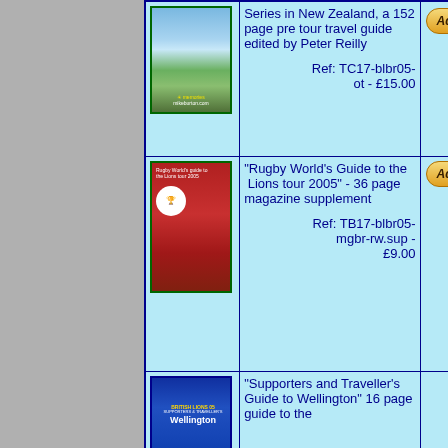| Image | Description | Action |
| --- | --- | --- |
| [Mountain/travel guide book cover] | Series in New Zealand, a 152 page pre tour travel guide edited by Peter Reilly
Ref: TC17-blbr05-ot - £15.00 | Add to Cart |
| [Rugby World's Guide book cover] | "Rugby World's Guide to the Lions tour 2005" - 36 page magazine supplement
Ref: TB17-blbr05-mgbr-rw.sup - £9.00 | Add to Cart |
| [British Lions Wellington guide cover] | "Supporters and Traveller's Guide to Wellington" 16 page guide to the | Add to Cart |